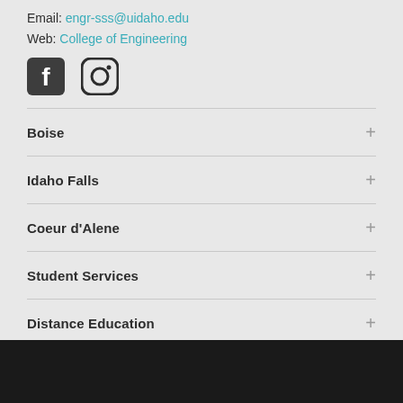Email: engr-sss@uidaho.edu
Web: College of Engineering
[Figure (logo): Facebook and Instagram social media icons]
Boise
Idaho Falls
Coeur d'Alene
Student Services
Distance Education
Jobs